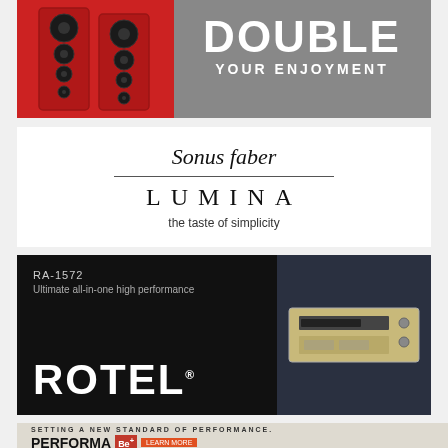[Figure (illustration): Advertisement: 'DOUBLE YOUR ENJOYMENT' with red speakers on left, gray background on right with white bold text 'DOUBLE YOUR ENJOYMENT']
[Figure (logo): Sonus faber Lumina advertisement. Italic brand name 'Sonus faber', horizontal rule, large spaced caps 'LUMINA', tagline 'the taste of simplicity']
[Figure (illustration): Rotel RA-1572 advertisement. Black background, model 'RA-1572', text 'Ultimate all-in-one high performance', large white ROTEL logo, photo of silver amplifier on right]
[Figure (illustration): Revel Performa Be advertisement. 'SETTING A NEW STANDARD OF PERFORMANCE.' text, PERFORMA Be logo with red button, speakers on right, REVEL logo in red bottom right]
[Figure (illustration): Musical Fidelity M8XI Super Integrated Amplifier advertisement. Blue background with white 'MUSICAL FIDELITY' text, 'M8XI Super Integrated Amplifier' text, pink/red scroll button with up arrow on right]